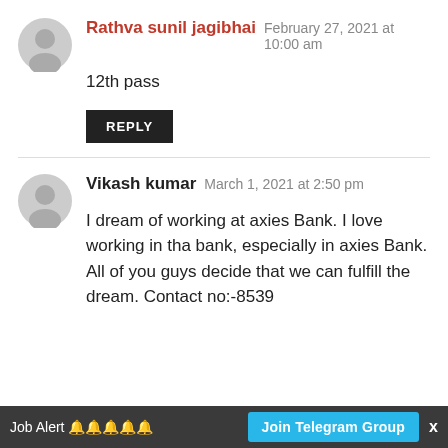Rathva sunil jagibhai  February 27, 2021 at 10:00 am
12th pass
REPLY
Vikash kumar  March 1, 2021 at 2:50 pm
I dream of working at axies Bank. I love working in tha bank, especially in axies Bank. All of you guys decide that we can fulfill the dream. Contact no:-8539
Job Alert 🔔🔔🔔🔔🔔  Join Telegram Group  x